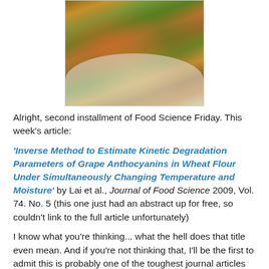[Figure (photo): A photograph of a Caesar salad or similar green salad topped with sliced grilled chicken and croutons, served on a white plate.]
Alright, second installment of Food Science Friday. This week's article:
'Inverse Method to Estimate Kinetic Degradation Parameters of Grape Anthocyanins in Wheat Flour Under Simultaneously Changing Temperature and Moisture' by Lai et al., Journal of Food Science 2009, Vol. 74. No. 5 (this one just had an abstract up for free, so couldn't link to the full article unfortunately)
I know what you're thinking... what the hell does that title even mean. And if you're not thinking that, I'll be the first to admit this is probably one of the toughest journal articles I've ever read. It had a lot of charts, lots of mathematical